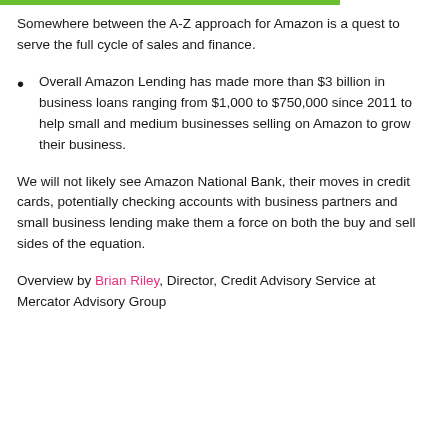Somewhere between the A-Z approach for Amazon is a quest to serve the full cycle of sales and finance.
Overall Amazon Lending has made more than $3 billion in business loans ranging from $1,000 to $750,000 since 2011 to help small and medium businesses selling on Amazon to grow their business.
We will not likely see Amazon National Bank, their moves in credit cards, potentially checking accounts with business partners and small business lending make them a force on both the buy and sell sides of the equation.
Overview by Brian Riley, Director, Credit Advisory Service at Mercator Advisory Group